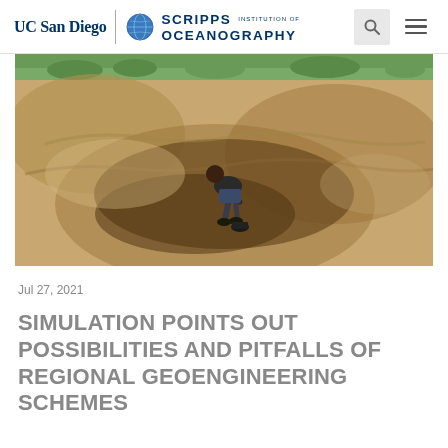UC San Diego | SCRIPPS INSTITUTION OF OCEANOGRAPHY
[Figure (photo): A person bending over in a dry, sandy field or pit, with green vegetation and trees visible in the background. The scene appears to be in an arid rural area.]
Jul 27, 2021
SIMULATION POINTS OUT POSSIBILITIES AND PITFALLS OF REGIONAL GEOENGINEERING SCHEMES